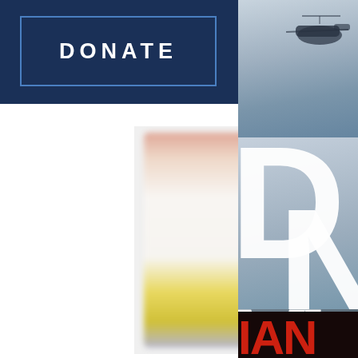DONATE
[Figure (screenshot): Navigation bar with DONATE button in blue border on dark navy background, and hamburger menu icon in white box]
[Figure (photo): Blurred image of four medical/pharmaceutical vials or bottles arranged in a row, with colored caps and gold/yellow labels, blurred background]
[Figure (photo): Right panel showing helicopter in snowy/cloudy mountains, large white letters D, N, V, and dark bottom strip with red letters, cropped from a larger action/documentary image]